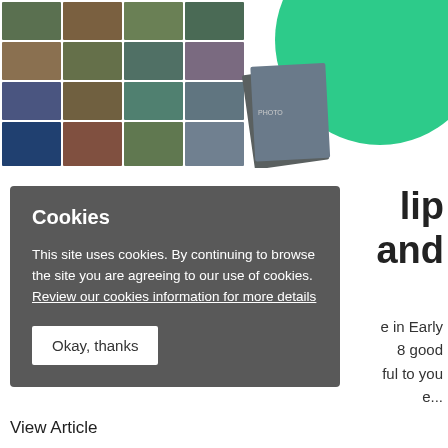[Figure (photo): Photo collage of various outdoor and indoor scenes with children and people, overlapping a green circular design element]
…lip and
e in Early 8 good ful to you e...
Cookies

This site uses cookies. By continuing to browse the site you are agreeing to our use of cookies. Review our cookies information for more details

Okay, thanks
View Article